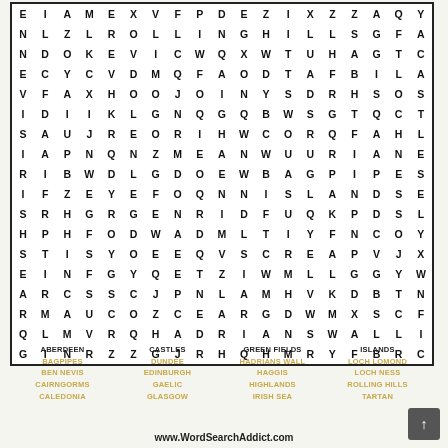[Figure (other): Word search puzzle grid with letters arranged in rows and columns]
ABERDEEN BAGPIPES BEN NEVIS CAIRNGORMS CALEDONIA CASTLES DUNDEE EDINBURGH GAELIC GLASGOW GREEN FIELDS HADRIANS WALL HAGGIS HIGHLANDS IRISH SEA ISLANDS LOCH LOMOND LOCH NESS ROLLING HILLS TARTAN
www.WordSearchAddict.com